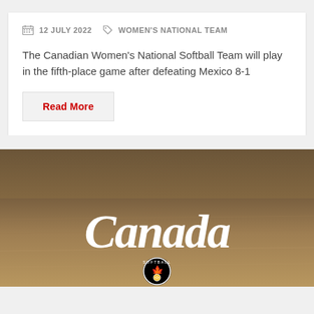12 JULY 2022   WOMEN'S NATIONAL TEAM
The Canadian Women's National Softball Team will play in the fifth-place game after defeating Mexico 8-1
Read More
[Figure (photo): A softball field with dirt/clay infield background featuring the Canada Softball logo — white cursive 'Canada' script with a circular 'Softball' badge showing a maple leaf and softball beneath]